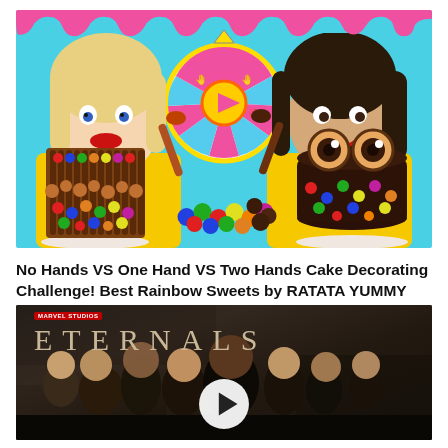[Figure (screenshot): YouTube video thumbnail showing two women in yellow outfits holding spoons, with decorated M&M cakes and a colorful spinner wheel. Pink drip decoration at top on teal background.]
No Hands VS One Hand VS Two Hands Cake Decorating Challenge! Best Rainbow Sweets by RATATA YUMMY
[Figure (screenshot): YouTube video thumbnail for Marvel Studios 'Eternals' showing a group of people in a dark stone setting with ETERNALS title text and a play button overlay.]